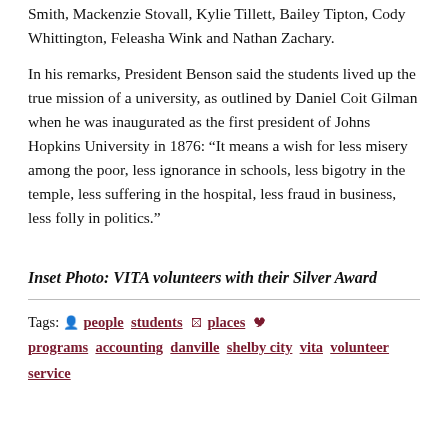Smith, Mackenzie Stovall, Kylie Tillett, Bailey Tipton, Cody Whittington, Feleasha Wink and Nathan Zachary.
In his remarks, President Benson said the students lived up the true mission of a university, as outlined by Daniel Coit Gilman when he was inaugurated as the first president of Johns Hopkins University in 1876: “It means a wish for less misery among the poor, less ignorance in schools, less bigotry in the temple, less suffering in the hospital, less fraud in business, less folly in politics.”
Inset Photo: VITA volunteers with their Silver Award
Tags: people students places programs accounting danville shelby city vita volunteer service